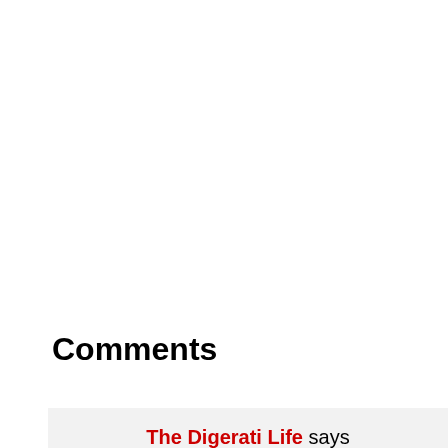Comments
The Digerati Life says